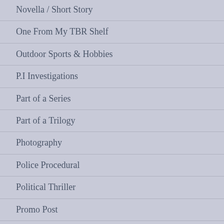Novella / Short Story
One From My TBR Shelf
Outdoor Sports & Hobbies
P.I Investigations
Part of a Series
Part of a Trilogy
Photography
Police Procedural
Political Thriller
Promo Post
Psychological Fiction